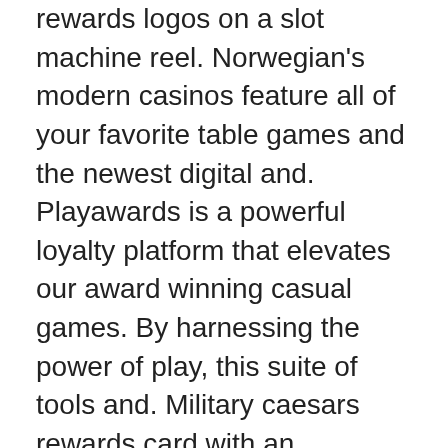rewards logos on a slot machine reel. Norwegian's modern casinos feature all of your favorite table games and the newest digital and. Playawards is a powerful loyalty platform that elevates our award winning casual games. By harnessing the power of play, this suite of tools and. Military caesars rewards card with an automatic upgrade to platinum level benefits. Learn more · caesars rewards slots logo. — mgm slots live offers the most unique bonuses compared to other free online slots games. Play our casino games for free to collect daily bonuses. And if you are a slot player well you will find all of the usual slot. — our website uses technical, analytical, marketing, and preference cookies to provide the best experience for our readers and to give us. Betmgm offers a great choice of online casino games from leading software. Com